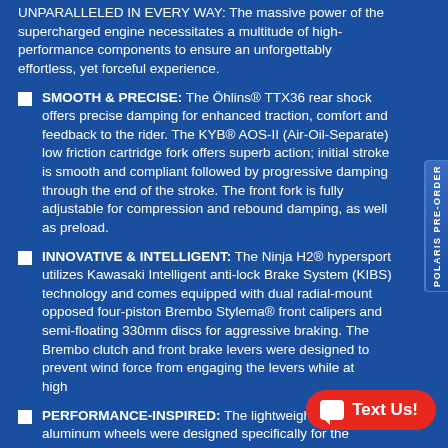UNPARALLELED IN EVERY WAY: The massive power of the supercharged engine necessitates a multitude of high-performance components to ensure an unforgettably effortless, yet forceful experience.
SMOOTH & PRECISE: The Öhlins® TTX36 rear shock offers precise damping for enhanced traction, comfort and feedback to the rider. The KYB® AOS-II (Air-Oil-Separate) low friction cartridge fork offers superb action; initial stroke is smooth and compliant followed by progressive damping through the end of the stroke. The front fork is fully adjustable for compression and rebound damping, as well as preload.
INNOVATIVE & INTELLIGENT: The Ninja H2® hypersport utilizes Kawasaki Intelligent anti-lock Brake System (KIBS) technology and comes equipped with dual radial-mount opposed four-piston Brembo Stylema® front calipers and semi-floating 330mm discs for aggressive braking. The Brembo clutch and front brake levers were designed to prevent wind force from engaging the levers while at high speed.
PERFORMANCE-INSPIRED: The lightweight cast aluminum wheels were designed specifically for the Ninja H2®.